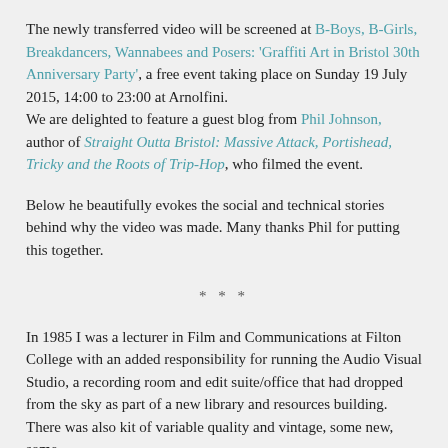The newly transferred video will be screened at B-Boys, B-Girls, Breakdancers, Wannabees and Posers: 'Graffiti Art in Bristol 30th Anniversary Party', a free event taking place on Sunday 19 July 2015, 14:00 to 23:00 at Arnolfini. We are delighted to feature a guest blog from Phil Johnson, author of Straight Outta Bristol: Massive Attack, Portishead, Tricky and the Roots of Trip-Hop, who filmed the event.
Below he beautifully evokes the social and technical stories behind why the video was made. Many thanks Phil for putting this together.
***
In 1985 I was a lecturer in Film and Communications at Filton College with an added responsibility for running the Audio Visual Studio, a recording room and edit suite/office that had dropped from the sky as part of a new library and resources building. There was also kit of variable quality and vintage, some new, some